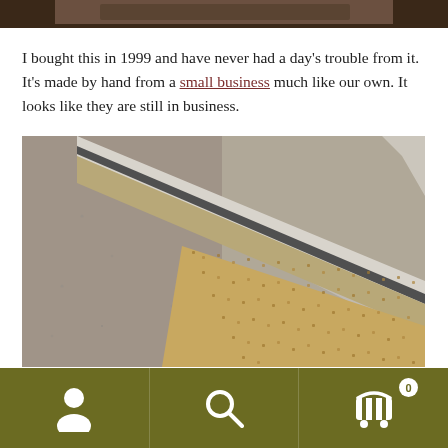[Figure (photo): Partial view of a photograph at the top of the page, cropped — appears to show a wooden/craft item]
I bought this in 1999 and have never had a day's trouble from it. It's made by hand from a small business much like our own. It looks like they are still in business.
[Figure (photo): Close-up photograph of a doormat corner showing a metal/aluminum frame with rubber weather seal and a coir (natural fiber) mat surface]
Navigation bar with user account icon, search icon, and shopping cart icon with badge showing 0